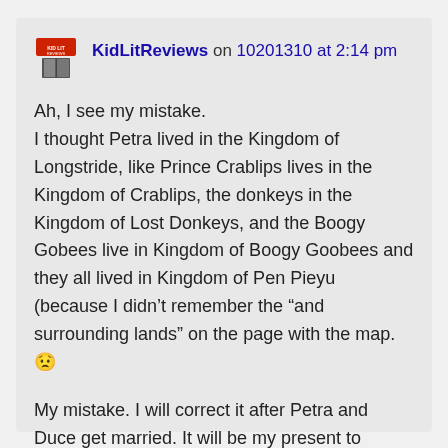KidLitReviews on 10201310 at 2:14 pm
Ah, I see my mistake.
I thought Petra lived in the Kingdom of Longstride, like Prince Crablips lives in the Kingdom of Crablips, the donkeys in the Kingdom of Lost Donkeys, and the Boogy Gobees live in Kingdom of Boogy Goobees and they all lived in Kingdom of Pen Pieyu (because I didn't remember the “and surrounding lands” on the page with the map. 😟

My mistake. I will correct it after Petra and Duce get married. It will be my present to